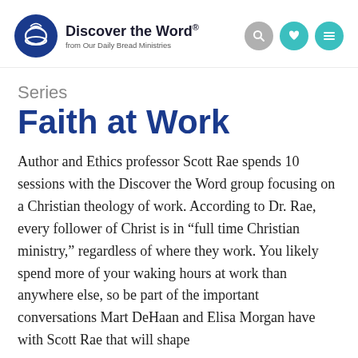Discover the Word. from Our Daily Bread Ministries
Series
Faith at Work
Author and Ethics professor Scott Rae spends 10 sessions with the Discover the Word group focusing on a Christian theology of work. According to Dr. Rae, every follower of Christ is in “full time Christian ministry,” regardless of where they work. You likely spend more of your waking hours at work than anywhere else, so be part of the important conversations Mart DeHaan and Elisa Morgan have with Scott Rae that will shape